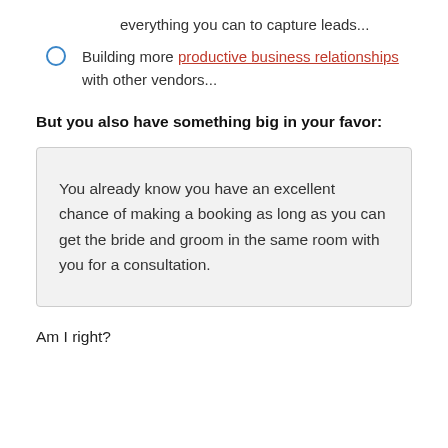everything you can to capture leads...
Building more productive business relationships with other vendors...
But you also have something big in your favor:
You already know you have an excellent chance of making a booking as long as you can get the bride and groom in the same room with you for a consultation.
Am I right?